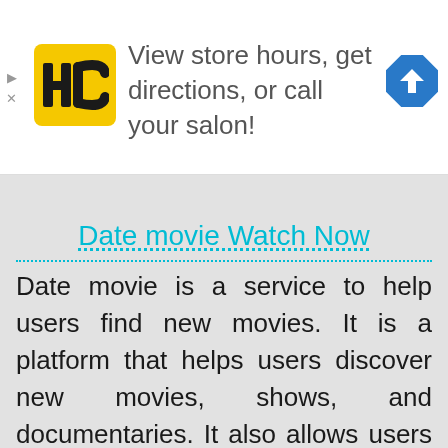[Figure (logo): HC salon logo — yellow square with rounded corners containing stylized HC letters in black, with the text 'View store hours, get directions, or call your salon!' beside it and a blue diamond navigation arrow icon on the right]
Date movie Watch Now
Date movie is a service to help users find new movies. It is a platform that helps users discover new movies, shows, and documentaries. It also allows users to find similar movies to the ones they like, and learn more about their favourite movies. It can be